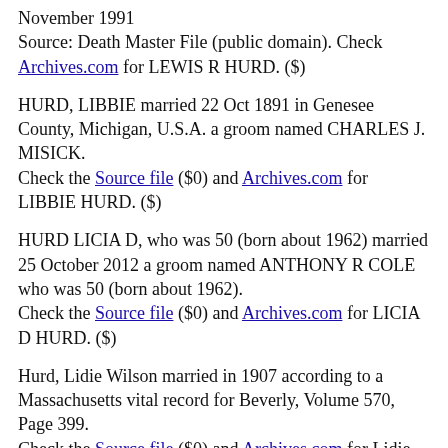November 1991
Source: Death Master File (public domain). Check Archives.com for LEWIS R HURD. ($)
HURD, LIBBIE married 22 Oct 1891 in Genesee County, Michigan, U.S.A. a groom named CHARLES J. MISICK.
Check the Source file ($0) and Archives.com for LIBBIE HURD. ($)
HURD LICIA D, who was 50 (born about 1962) married 25 October 2012 a groom named ANTHONY R COLE who was 50 (born about 1962).
Check the Source file ($0) and Archives.com for LICIA D HURD. ($)
Hurd, Lidie Wilson married in 1907 according to a Massachusetts vital record for Beverly, Volume 570, Page 399.
Check the Source file ($0) and Archives.com for Lidie Wilson Hurd. ($)